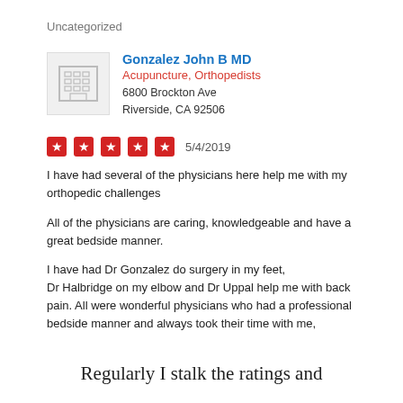Uncategorized
[Figure (illustration): Building/medical office icon in gray]
Gonzalez John B MD
Acupuncture, Orthopedists
6800 Brockton Ave
Riverside, CA 92506
[Figure (other): Five red star rating boxes followed by date 5/4/2019]
I have had several of the physicians here help me with my orthopedic challenges
All of the physicians are caring, knowledgeable and have a great bedside manner.
I have had Dr Gonzalez do surgery in my feet,
Dr Halbridge on my elbow and Dr Uppal help me with back pain. All were wonderful physicians who had a professional bedside manner and always took their time with me,
Regularly I stalk the ratings and